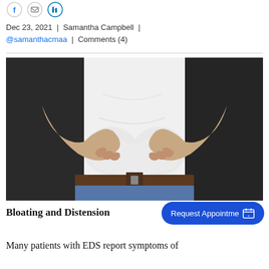[Figure (other): Three small social media share icon circles (Facebook, email/envelope, LinkedIn) at top left]
Dec 23, 2021  |  Samantha Campbell  |  @samanthacmaa  |  Comments (4)
[Figure (photo): A person in a black suit jacket and jeans grabbing/clutching their bloated abdomen with both hands, white shirt visible, brown belt, isolated on white background]
Bloating and Distension
Many patients with EDS report symptoms of